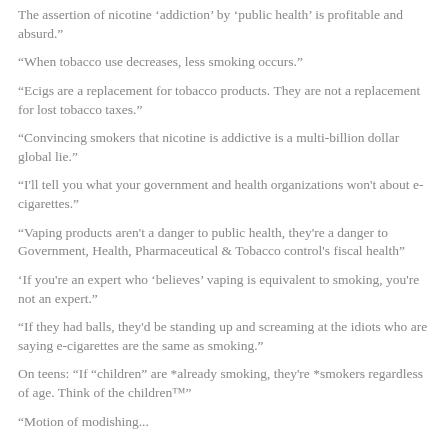The assertion of nicotine 'addiction' by 'public health' is profitable and absurd.
"When tobacco use decreases, less smoking occurs."
"Ecigs are a replacement for tobacco products. They are not a replacement for lost tobacco taxes."
"Convincing smokers that nicotine is addictive is a multi-billion dollar global lie."
"I'll tell you what your government and health organizations won't about e-cigarettes."
"Vaping products aren't a danger to public health, they're a danger to Government, Health, Pharmaceutical & Tobacco control's fiscal health"
'If you're an expert who 'believes' vaping is equivalent to smoking, you're not an expert.'
"If they had balls, they'd be standing up and screaming at the idiots who are saying e-cigarettes are the same as smoking."
On teens: "If "children" are *already smoking, they're *smokers regardless of age. Think of the children™"
"Motion of modishing...